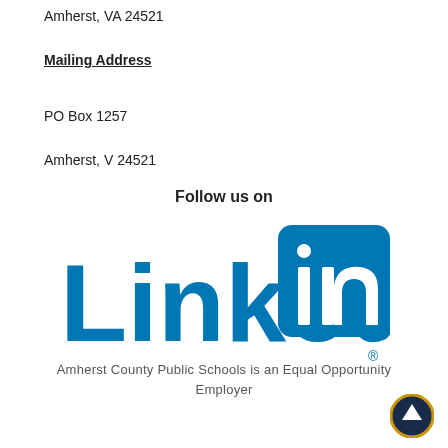Amherst, VA 24521
Mailing Address
PO Box 1257
Amherst, V 24521
Follow us on
[Figure (logo): LinkedIn logo in blue — 'Linked' text followed by 'in' in a blue rounded square with registered trademark symbol]
Amherst County Public Schools is an Equal Opportunity Employer
[Figure (other): Circular scroll-to-top button with dark navy border and white upward arrow on dark blue background]